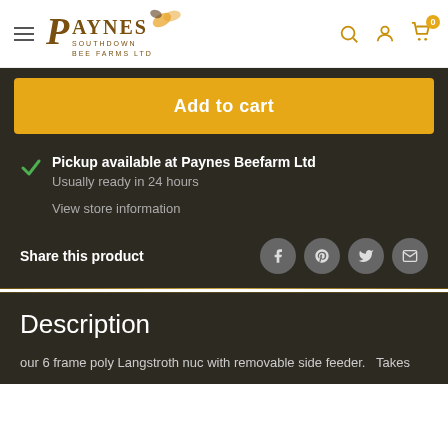[Figure (logo): Paynes Southdown Bee Farms Ltd logo with bee illustration]
Add to cart
Pickup available at Paynes Beefarm Ltd
Usually ready in 24 hours
View store information
Share this product
Description
our 6 frame poly Langstroth nuc with removable side feeder.  Takes